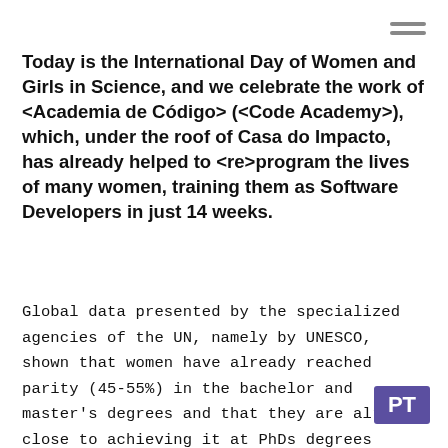Today is the International Day of Women and Girls in Science, and we celebrate the work of <Academia de Código> (<Code Academy>), which, under the roof of Casa do Impacto, has already helped to <re>program the lives of many women, training them as Software Developers in just 14 weeks.
Global data presented by the specialized agencies of the UN, namely by UNESCO, shown that women have already reached parity (45-55%) in the bachelor and master's degrees and that they are already close to achieving it at PhDs degrees (44%).